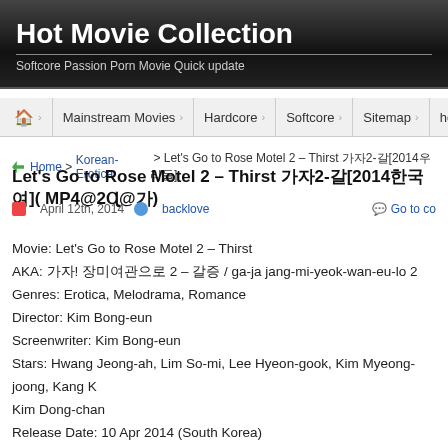Hot Movie Collection
Softcore Passion Porn Movie Quick update
Mainstream Movies | Hardcore | Softcore | Sitemap | help
Home > Korean-Erotica > Let's Go to Rose Motel 2 – Thirst [2014]
Let's Go to Rose Motel 2 – Thirst [2014](MP4@2@)
April 12th, 2014   backlove   Go to comments
Movie: Let's Go to Rose Motel 2 – Thirst
AKA: 가자! 장미여관으로 2 – 갈증 / ga-ja jang-mi-yeok-wan-eu-lo 2
Genres: Erotica, Melodrama, Romance
Director: Kim Bong-eun
Screenwriter: Kim Bong-eun
Stars: Hwang Jeong-ah, Lim So-mi, Lee Hyeon-gook, Kim Myeong-joong, Kang M Kim Dong-chan
Release Date: 10 Apr 2014 (South Korea)
Country: South Korea
Language: Korean
Subtitles: None ATM